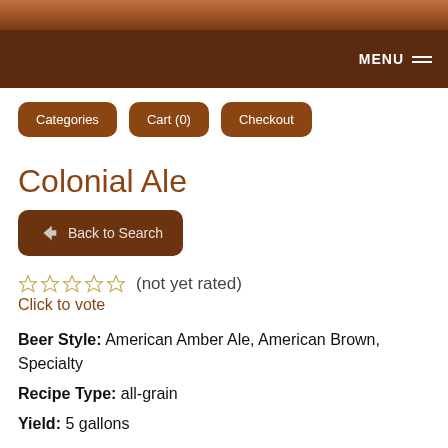MENU
Categories | Cart (0) | Checkout
Colonial Ale
Back to Search
☆☆☆☆☆ (not yet rated)
Click to vote
Beer Style: American Amber Ale, American Brown, Specialty
Recipe Type: all-grain
Yield: 5 gallons